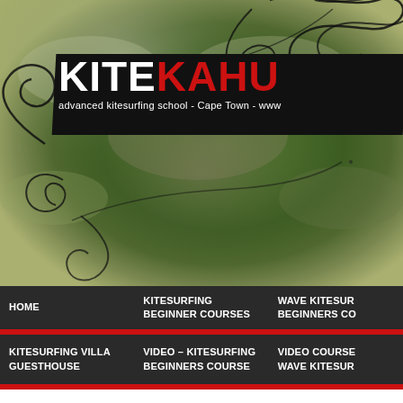[Figure (screenshot): KiteKahu advanced kitesurfing school website screenshot showing an aerial photo background of ocean/coast with decorative black swirl graphics, a black header banner with the logo 'KITE' in white and 'KAHU' in red, tagline 'advanced kitesurfing school - Cape Town - www...', and navigation bars below]
KITE KAHU
advanced kitesurfing school - Cape Town - www
HOME
KITESURFING
BEGINNER COURSES
WAVE KITESUR...
BEGINNERS CO...
KITESURFING VILLA
GUESTHOUSE
VIDEO – KITESURFING
BEGINNERS COURSE
VIDEO COURSE
WAVE KITESUR...